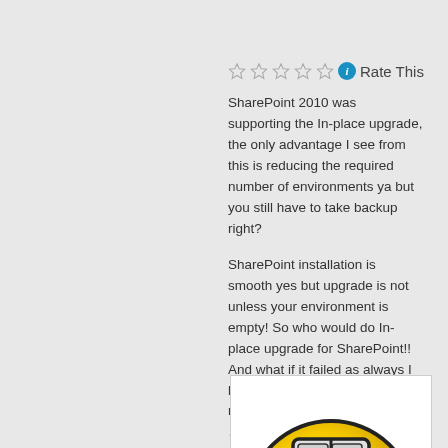[Figure (other): Five empty star rating icons followed by a blue info icon and the text 'Rate This']
SharePoint 2010 was supporting the In-place upgrade, the only advantage I see from this is reducing the required number of environments ya but you still have to take backup right?
SharePoint installation is smooth yes but upgrade is not unless your environment is empty! So who would do In-place upgrade for SharePoint!! And what if it failed as always I believe, you will have to start new environment from scratch … that will be sweet times J .. I am just laughing at that.
[Figure (illustration): Partial view of a cartoon laughing face / emoji with yellow round head, showing forehead and eyes at the bottom of the page]